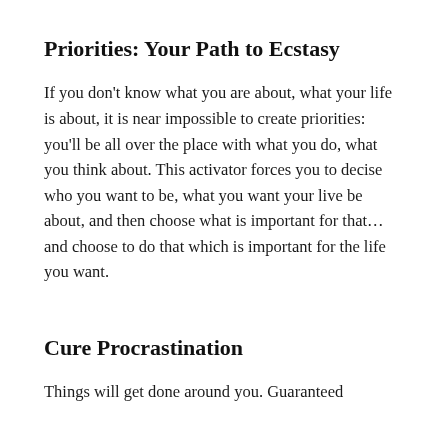Priorities: Your Path to Ecstasy
If you don't know what you are about, what your life is about, it is near impossible to create priorities: you'll be all over the place with what you do, what you think about. This activator forces you to decise who you want to be, what you want your live be about, and then choose what is important for that… and choose to do that which is important for the life you want.
Cure Procrastination
Things will get done around you. Guaranteed